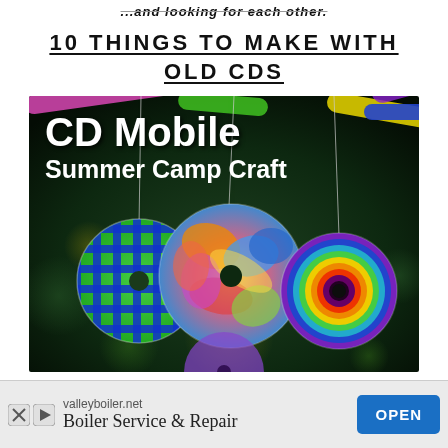...and looking for each other.
10 THINGS TO MAKE WITH OLD CDS
[Figure (photo): Photo of decorated CDs hanging as a mobile against a dark green bokeh background. Overlaid white text reads 'CD Mobile Summer Camp Craft'. Three painted CDs are visible: one with a blue grid pattern on green, one with multicolored abstract paint, and one with rainbow concentric circles. Colorful hula hoops and sticks appear at the top edge.]
valleyboiler.net
Boiler Service & Repair